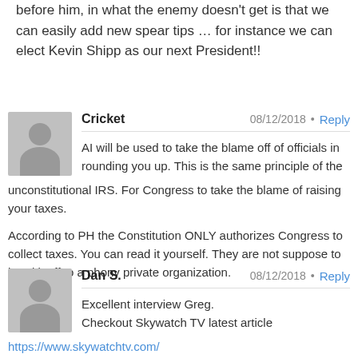before him, in what the enemy doesn't get is that we can easily add new spear tips … for instance we can elect Kevin Shipp as our next President!!
Cricket 08/12/2018 • Reply
AI will be used to take the blame off of officials in rounding you up. This is the same principle of the unconstitutional IRS. For Congress to take the blame of raising your taxes.
According to PH the Constitution ONLY authorizes Congress to collect taxes. You can read it yourself. They are not suppose to hand it off to a phony private organization.
Dan S. 08/12/2018 • Reply
Excellent interview Greg.
Checkout Skywatch TV latest article
https://www.skywatchtv.com/